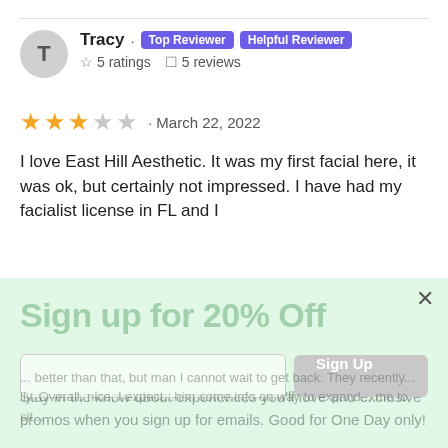Tracy · Top Reviewer · Helpful Reviewer
☆ 5 ratings  ☐ 5 reviews
★★★☆☆ · March 22, 2022
I love East Hill Aesthetic. It was my first facial here, it was ok, but certainly not impressed. I have had my facialist license in FL and I
[Figure (screenshot): Email sign-up popup overlay with green background, title 'Sign up for 20% Off', body text about staying in the know, email input field, Sign Up button, and close X button]
... better than that, but man I cannot wait to get back. They recently... ily. Overall, nice, I expect...him some info on way to expand... me to sit...